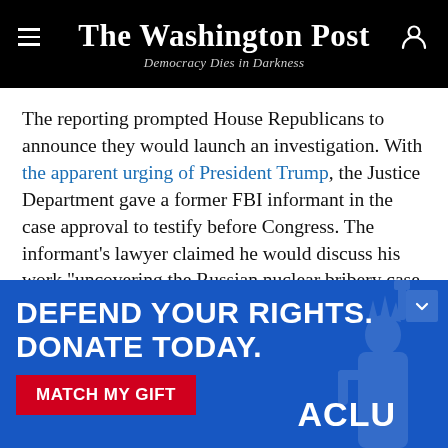The Washington Post — Democracy Dies in Darkness
The reporting prompted House Republicans to announce they would launch an investigation. With the apparent urging of President Trump, the Justice Department gave a former FBI informant in the case approval to testify before Congress. The informant's lawyer claimed he would discuss his work “uncovering the Russian nuclear bribery case and the efforts he witnessed by Moscow to gain influence with [former
[Figure (infographic): ACLU advertisement banner: 'DEFEND YOUR RIGHTS. DONATE TODAY.' with a red 'MATCH MY GIFT' button and ACLU logo on a blue background with a faded Statue of Liberty image.]